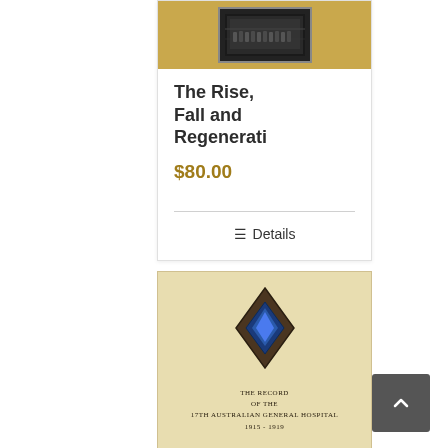[Figure (photo): Book cover image on golden/yellow background with a historical photograph of people]
The Rise, Fall and Regenerati
$80.00
≡ Details
[Figure (photo): Book cover with diamond/rhombus military insignia badge and text reading THE RECORD OF THE 17TH AUSTRALIAN GENERAL HOSPITAL 1915-1919]